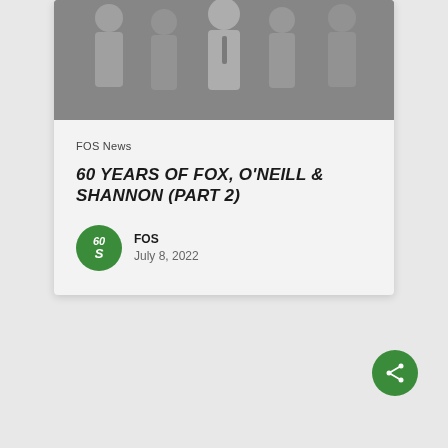[Figure (photo): Black and white group photo of professionals in formal business attire, partially cropped at top]
FOS News
60 YEARS OF FOX, O'NEILL & SHANNON (PART 2)
[Figure (logo): FOS circular logo with '60S' text in green]
FOS
July 8, 2022
[Figure (other): Green circular share button with share icon]